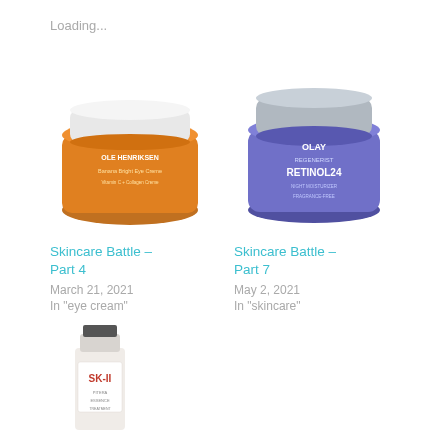Loading...
[Figure (photo): Ole Henriksen Banana Bright Eye Cream jar, orange/amber colored]
Skincare Battle – Part 4
March 21, 2021
In "eye cream"
[Figure (photo): Olay Regenerist Retinol 24 Night Moisturizer, blue/purple jar]
Skincare Battle – Part 7
May 2, 2021
In "skincare"
[Figure (photo): SK-II skincare product, white bottle]
Skincare Battle – Part 2
February 14, 2021
In "skincare"